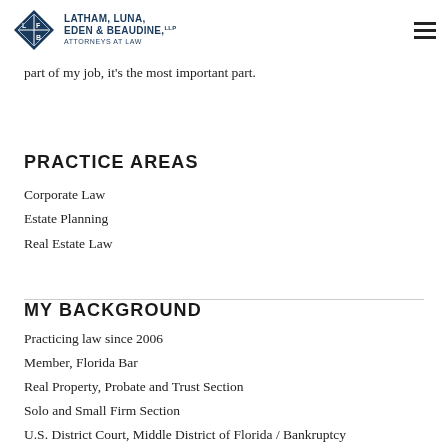Latham, Luna, Eden & Beaudine, LLP — Attorneys at Law
right of mine. You will always know where we stand, what's what from an expert with your case. Keeping you well informed and comfortable with the process... it's not only part of my job, it's the most important part.
PRACTICE AREAS
Corporate Law
Estate Planning
Real Estate Law
MY BACKGROUND
Practicing law since 2006
Member, Florida Bar
Real Property, Probate and Trust Section
Solo and Small Firm Section
U.S. District Court, Middle District of Florida / Bankruptcy